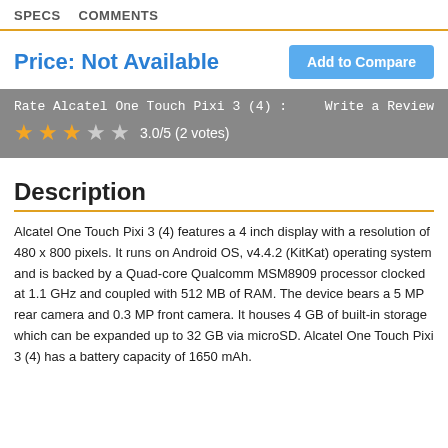SPECS   COMMENTS
Price: Not Available
Add to Compare
Rate Alcatel One Touch Pixi 3 (4) :   Write a Review
3.0/5 (2 votes)
Description
Alcatel One Touch Pixi 3 (4) features a 4 inch display with a resolution of 480 x 800 pixels. It runs on Android OS, v4.4.2 (KitKat) operating system and is backed by a Quad-core Qualcomm MSM8909 processor clocked at 1.1 GHz and coupled with 512 MB of RAM. The device bears a 5 MP rear camera and 0.3 MP front camera. It houses 4 GB of built-in storage which can be expanded up to 32 GB via microSD. Alcatel One Touch Pixi 3 (4) has a battery capacity of 1650 mAh.